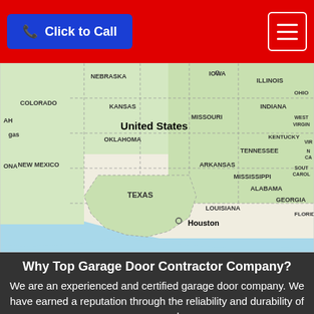Click to Call
[Figure (map): Google Maps screenshot showing the United States, centered on Houston, TX, showing states: Nebraska, Iowa, Illinois, Ohio, Indiana, Colorado, Kansas, Missouri, West Virginia, Virginia, Oklahoma, Tennessee, North Carolina, Arkansas, Mississippi, South Carolina, New Mexico, Alabama, Georgia, Texas, Louisiana, Florida. Houston is marked with a pin.]
Why Top Garage Door Contractor Company?
We are an experienced and certified garage door company. We have earned a reputation through the reliability and durability of our garage door